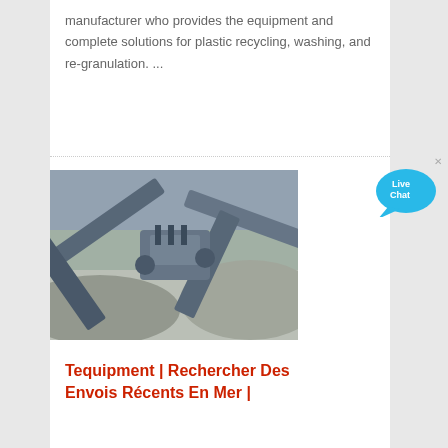manufacturer who provides the equipment and complete solutions for plastic recycling, washing, and re-granulation. ...
[Figure (photo): Aerial view of industrial mining conveyor belt equipment with crushed rock/gravel piles at a quarry or mining site.]
Tequipment | Rechercher Des Envois Récents En Mer |